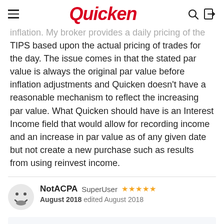Quicken
inflation. My broker provides a daily pricing of the TIPS based upon the actual pricing of trades for the day. The issue comes in that the stated par value is always the original par value before inflation adjustments and Quicken doesn't have a reasonable mechanism to reflect the increasing par value. What Quicken should have is an Interest Income field that would allow for recording income and an increase in par value as of any given date but not create a new purchase such as results from using reinvest income.
NotACPA  SuperUser  ★★★★★
August 2018  edited August 2018
Stephen Singer said: